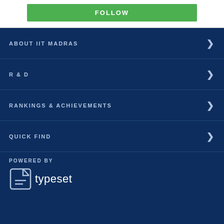[Figure (other): Green FOLLOW button at top of page]
ABOUT IIT MADRAS
R & D
RANKINGS & ACHIEVEMENTS
QUICK FIND
POWERED BY
[Figure (logo): Typeset logo with document icon and text 'typeset']